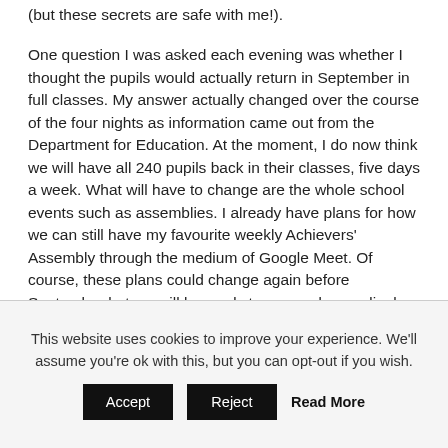(but these secrets are safe with me!).
One question I was asked each evening was whether I thought the pupils would actually return in September in full classes. My answer actually changed over the course of the four nights as information came out from the Department for Education. At the moment, I do now think we will have all 240 pupils back in their classes, five days a week. What will have to change are the whole school events such as assemblies. I already have plans for how we can still have my favourite weekly Achievers' Assembly through the medium of Google Meet. Of course, these plans could change again before September but we will be ready to respond accordingly and will let you know what
This website uses cookies to improve your experience. We'll assume you're ok with this, but you can opt-out if you wish.
Accept  Reject  Read More